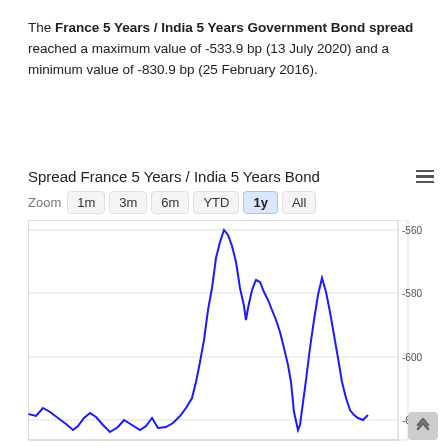The France 5 Years / India 5 Years Government Bond spread reached a maximum value of -533.9 bp (13 July 2020) and a minimum value of -830.9 bp (25 February 2016).
[Figure (continuous-plot): Line chart showing the 1-year spread between France 5 Years and India 5 Years Government Bonds. The y-axis ranges from approximately -620 to -560 bp. The line shows oscillations starting around -618 bp on the left, rising sharply to near -533 bp in the middle, then fluctuating and ending around -610 bp on the right.]